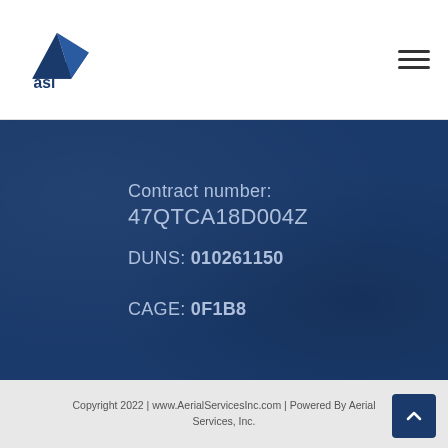[Figure (logo): ASI (Aerial Services Inc) logo — blue triangle arrow pointing right with 'asi' text below]
Contract number: 47QTCA18D004Z
DUNS: 010261150
CAGE: 0F1B8
Copyright 2022 | www.AerialServicesInc.com | Powered By Aerial Services, Inc.